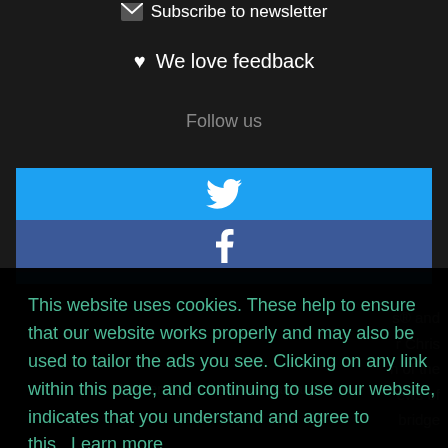Subscribe to newsletter
We love feedback
Follow us
[Figure (illustration): Twitter social media button (blue background with white bird icon)]
[Figure (illustration): Facebook social media button (dark blue background with white f icon)]
This website uses cookies. These help to ensure that our website works properly and may also be used to tailor the ads you see. Clicking on any link within this page, and continuing to use our website, indicates that you understand and agree to this. Learn more
Got it!
University or the public at large.